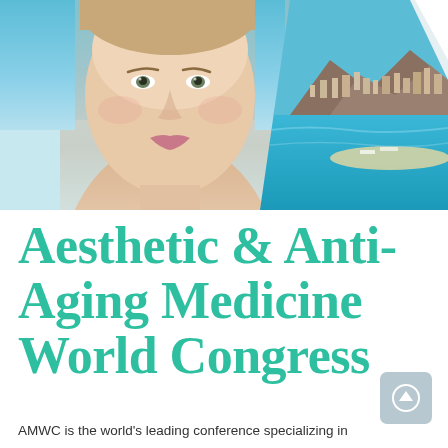[Figure (photo): Composite photo: woman's face with clear skin against blue sky background on the left, and aerial view of Monaco coastal city with mountains and turquoise sea on the right]
Aesthetic & Anti-Aging Medicine World Congress
AMWC is the world's leading conference specializing in